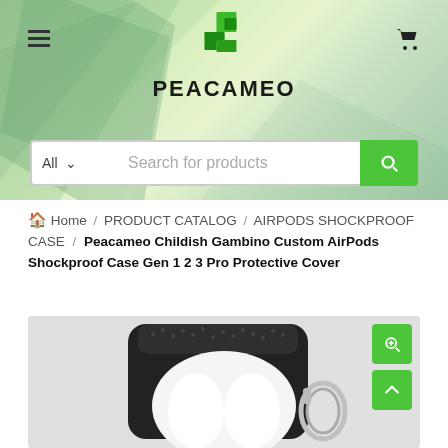[Figure (screenshot): Peacameo e-commerce website header with logo, menu icon, cart icon, and product search bar on green gradient background]
Home / PRODUCT CATALOG / AIRPODS SHOCKPROOF CASE / Peacameo Childish Gambino Custom AirPods Shockproof Case Gen 1 2 3 Pro Protective Cover
[Figure (photo): AirPods shockproof case product photo showing black rugged protective case with silver ring accessory and white AirPods inside, on light grey background]